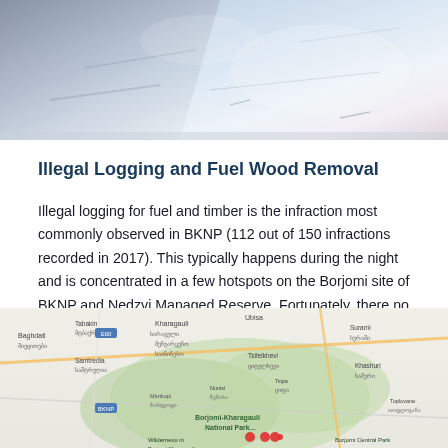[Figure (photo): Aerial or satellite view of a snowy/icy landscape with dark shadow streaks, likely a mountainous or glacial area.]
Illegal Logging and Fuel Wood Removal
Illegal logging for fuel and timber is the infraction most commonly observed in BKNP (112 out of 150 infractions recorded in 2017). This typically happens during the night and is concentrated in a few hotspots on the Borjomi site of BKNP and Nedzvi Managed Reserve. Fortunately, there no longer is large-scale deforestation or clearing since 2012.
[Figure (map): Google Maps view showing the Borjomi-Kharagauli National Park area in Georgia, with place names in Georgian and English scripts. Shows Borjomi Central Park, Wilderness in Borjomi-Kharagauli, and surrounding towns including Baghdati, Samtredia, Khashuri, Surami, and others.]